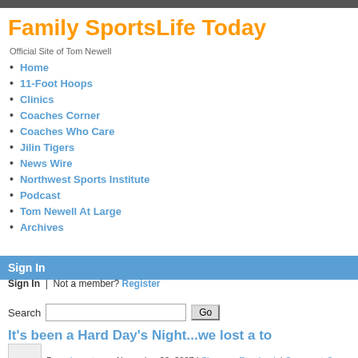Family SportsLife Today
Official Site of Tom Newell
Home
11-Foot Hoops
Clinics
Coaches Corner
Coaches Who Care
Jilin Tigers
News Wire
Northwest Sports Institute
Podcast
Tom Newell At Large
Archives
Sign In
Sign In  |  Not a member? Register
Search
It's been a Hard Day's Night...we lost a to
By webmaster on November 20, 2007 | Share on Facebook | Comments?